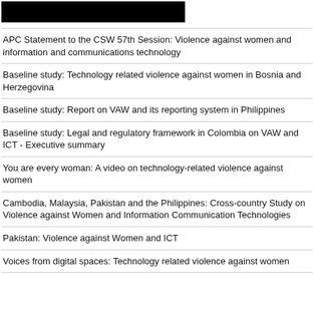[Figure (other): Black rectangle logo/header image]
APC Statement to the CSW 57th Session: Violence against women and information and communications technology
Baseline study: Technology related violence against women in Bosnia and Herzegovina
Baseline study: Report on VAW and its reporting system in Philippines
Baseline study: Legal and regulatory framework in Colombia on VAW and ICT - Executive summary
You are every woman: A video on technology-related violence against women
Cambodia, Malaysia, Pakistan and the Philippines: Cross-country Study on Violence against Women and Information Communication Technologies
Pakistan: Violence against Women and ICT
Voices from digital spaces: Technology related violence against women